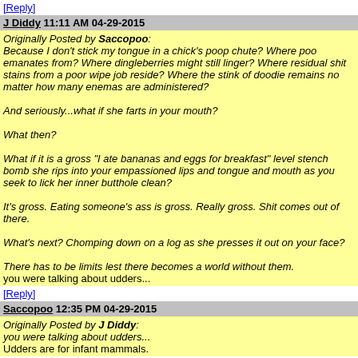[Reply]
J Diddy 11:11 AM 04-29-2015
Originally Posted by Saccopoo:
Because I don't stick my tongue in a chick's poop chute? Where poo emanates from? Where dingleberries might still linger? Where residual shit stains from a poor wipe job reside? Where the stink of doodie remains no matter how many enemas are administered?

And seriously...what if she farts in your mouth?

What then?

What if it is a gross "I ate bananas and eggs for breakfast" level stench bomb she rips into your empassioned lips and tongue and mouth as you seek to lick her inner butthole clean?

It's gross. Eating someone's ass is gross. Really gross. Shit comes out of there.

What's next? Chomping down on a log as she presses it out on your face?

There has to be limits lest there becomes a world without them.
you were talking about udders...
[Reply]
Saccopoo 12:35 PM 04-29-2015
Originally Posted by J Diddy:
you were talking about udders...
Udders are for infant mammals.